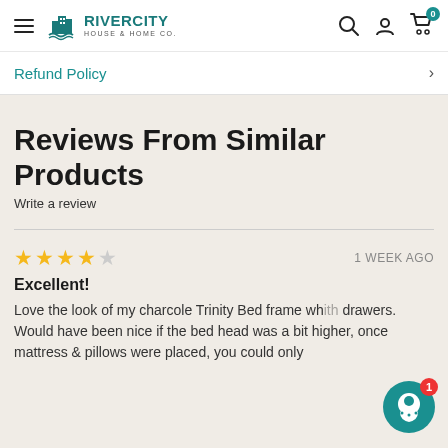RIVERCITY HOUSE & HOME CO.
Refund Policy
Reviews From Similar Products
Write a review
★★★★☆  1 WEEK AGO
Excellent!
Love the look of my charcole Trinity Bed frame wh... drawers. Would have been nice if the bed head was a bit higher, once mattress & pillows were placed, you could only